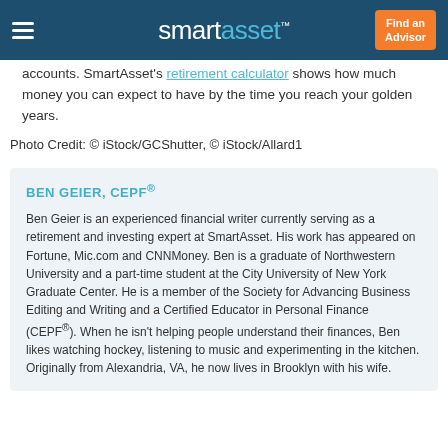smartasset™  Find an Advisor
accounts. SmartAsset's retirement calculator shows how much money you can expect to have by the time you reach your golden years.
Photo Credit: © iStock/GCShutter, © iStock/Allard1
BEN GEIER, CEPF®
Ben Geier is an experienced financial writer currently serving as a retirement and investing expert at SmartAsset. His work has appeared on Fortune, Mic.com and CNNMoney. Ben is a graduate of Northwestern University and a part-time student at the City University of New York Graduate Center. He is a member of the Society for Advancing Business Editing and Writing and a Certified Educator in Personal Finance (CEPF®). When he isn't helping people understand their finances, Ben likes watching hockey, listening to music and experimenting in the kitchen. Originally from Alexandria, VA, he now lives in Brooklyn with his wife.